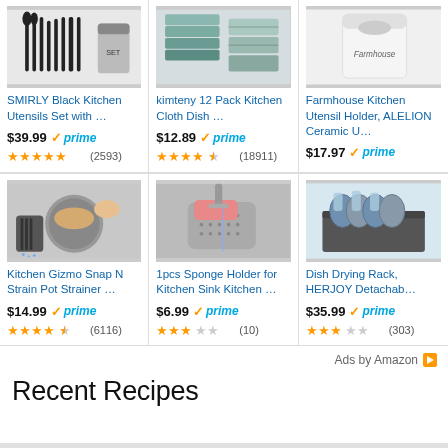[Figure (screenshot): Amazon product grid with 6 kitchen products, prices, prime badges, star ratings, and review counts. Bottom section shows 'Ads by Amazon' and 'Recent Recipes' heading.]